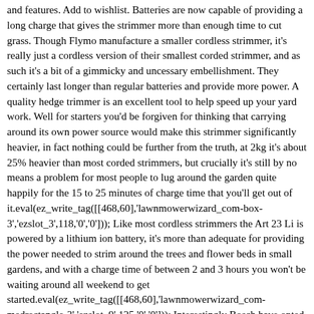and features. Add to wishlist. Batteries are now capable of providing a long charge that gives the strimmer more than enough time to cut grass. Though Flymo manufacture a smaller cordless strimmer, it's really just a cordless version of their smallest corded strimmer, and as such it's a bit of a gimmicky and uncessary embellishment. They certainly last longer than regular batteries and provide more power. A quality hedge trimmer is an excellent tool to help speed up your yard work. Well for starters you'd be forgiven for thinking that carrying around its own power source would make this strimmer significantly heavier, in fact nothing could be further from the truth, at 2kg it's about 25% heavier than most corded strimmers, but crucially it's still by no means a problem for most people to lug around the garden quite happily for the 15 to 25 minutes of charge time that you'll get out of it.eval(ez_write_tag([[468,60],'lawnmowerwizard_com-box-3','ezslot_3',118,'0','0'])); Like most cordless strimmers the Art 23 Li is powered by a lithium ion battery, it's more than adequate for providing the power needed to strim around the trees and flower beds in small gardens, and with a charge time of between 2 and 3 hours you won't be waiting around all weekend to get started.eval(ez_write_tag([[468,60],'lawnmowerwizard_com-medrectangle-3','ezslot_9',125,'0','0'])); Interestingly Bosch have opted to design this strimmer for use with specially designed plastic cutting blades rather than the usual spool of plastic cutting wire found on most strimmers. It has bucketloads of power, all